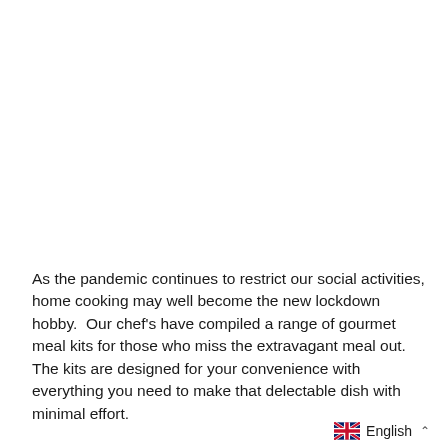As the pandemic continues to restrict our social activities, home cooking may well become the new lockdown hobby.  Our chef's have compiled a range of gourmet meal kits for those who miss the extravagant meal out.  The kits are designed for your convenience with everything you need to make that delectable dish with minimal effort.
English